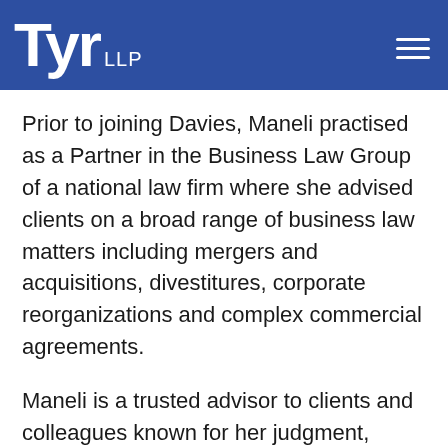Tyr LLP
Prior to joining Davies, Maneli practised as a Partner in the Business Law Group of a national law firm where she advised clients on a broad range of business law matters including mergers and acquisitions, divestitures, corporate reorganizations and complex commercial agreements.
Maneli is a trusted advisor to clients and colleagues known for her judgment, integrity and mindful approach to problem solving. She is committed to understanding the underlying issues and objectives to ensure that solutions are practical